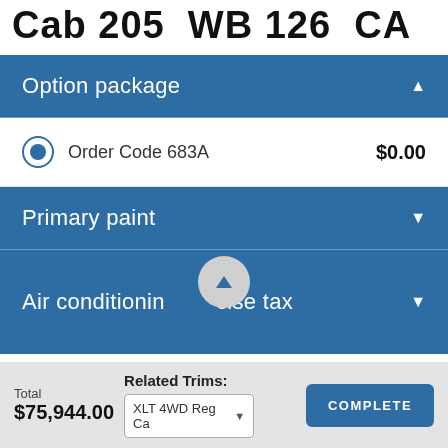Cab 205  WB 126  CA
Option package
Order Code 683A   $0.00
Primary paint
Air conditioning excise tax
Total
$75,944.00
Related Trims:
XLT 4WD Reg Ca
COMPLETE